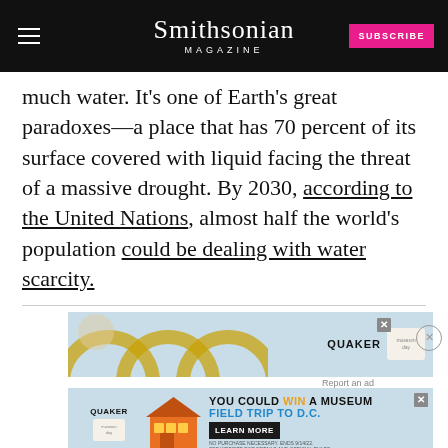Smithsonian MAGAZINE
much water. It’s one of Earth’s great paradoxes—a place that has 70 percent of its surface covered with liquid facing the threat of a massive drought. By 2030, according to the United Nations, almost half the world’s population could be dealing with water scarcity.
[Figure (other): Quaker / Smithsonian Museum Day advertisement banner (top portion): light blue background with decorative golden arches and Quaker branding with museum-day badge and close button. Bottom portion: Quaker store illustration with text YOU COULD WIN A MUSEUM FIELD TRIP TO D.C. and LEARN MORE button, fine print, and copyright notice.]